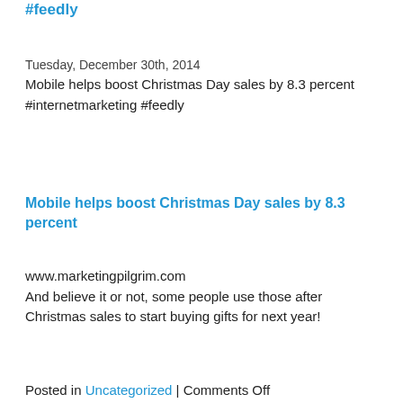#feedly
Tuesday, December 30th, 2014
Mobile helps boost Christmas Day sales by 8.3 percent #internetmarketing #feedly
Mobile helps boost Christmas Day sales by 8.3 percent
www.marketingpilgrim.com
And believe it or not, some people use those after Christmas sales to start buying gifts for next year!
Posted in Uncategorized | Comments Off
iPhones and iPads made up over half of devices activated on Christmas #technolog…
Tuesday, December 30th, 2014
iPhones and iPads made up over half of devices activated on Christmas #technology #feedly